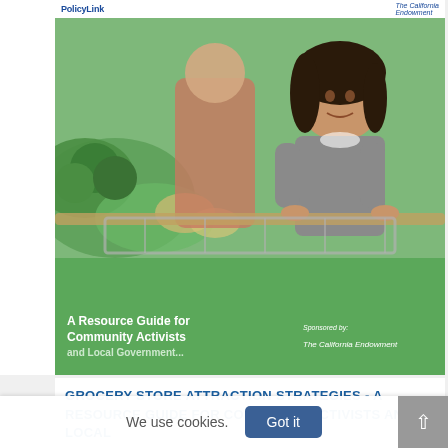[Figure (illustration): Cover of 'Grocery Store Attraction Strategies - A Resource Guide for Community Activists and Local Government' published by PolicyLink and The California Endowment. Green cover with large title text and a photo of a young girl in a shopping cart in a grocery store produce section. Bottom band shows subtitle and sponsor information.]
GROCERY STORE ATTRACTION STRATEGIES - A RESOURCE GUIDE FOR COMMUNITY ACTIVISTS AND LOCAL
We use cookies.